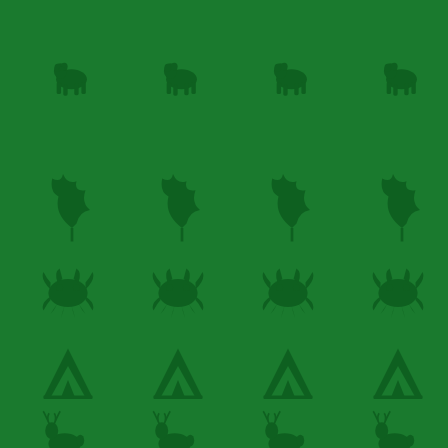[Figure (illustration): A dark green background with a repeating pattern of nature and wildlife silhouette icons arranged in rows: row 1 - walking bear/deer silhouettes, row 2 - oak leaf silhouettes, row 3 - crab/crustacean silhouettes, row 4 - tent/camping silhouettes, row 5 - deer/stag with antlers silhouettes, row 6 - partial bottom row of animal silhouettes. All icons are a slightly darker green than the background, creating a subtle tonal pattern.]